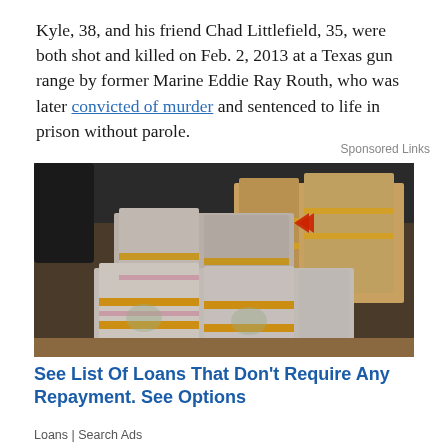Kyle, 38, and his friend Chad Littlefield, 35, were both shot and killed on Feb. 2, 2013 at a Texas gun range by former Marine Eddie Ray Routh, who was later convicted of murder and sentenced to life in prison without parole.
Sponsored Links
[Figure (photo): Large stacks of bundled US dollar bills piled on a surface, photographed from above.]
See List Of Loans That Don't Require Any Repayment. See Options
Loans | Search Ads